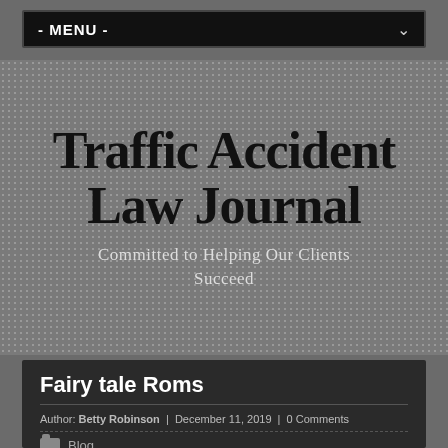- MENU -
Traffic Accident Law Journal
Committed to Helping Our Clients Succeed
Fairy tale Roms
Author: Betty Robinson | December 11, 2019 | 0 Comments
Blog
Allegory Roms can be popular, but have been with us for jus